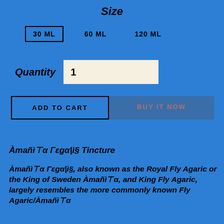Size
30 ML   60 ML   120 ML
Quantity  1
ADD TO CART   BUY IT NOW
Àmañì⊤α Γεgα|ì§ Tincture
Àmañì⊤α Γεgα|ì§, also known as the Royal Fly Agaric or the King of Sweden Àmañì⊤α, and King Fly Agaric, largely resembles the more commonly known Fly Agaric/Àmañì⊤α